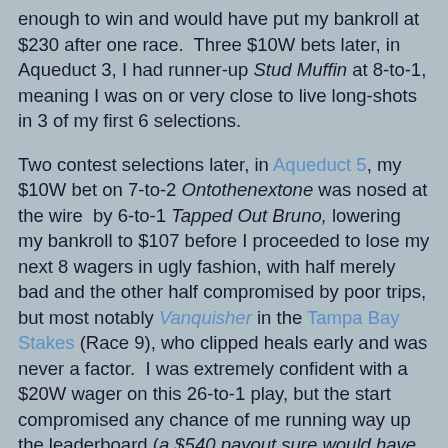enough to win and would have put my bankroll at $230 after one race.  Three $10W bets later, in Aqueduct 3, I had runner-up Stud Muffin at 8-to-1, meaning I was on or very close to live long-shots in 3 of my first 6 selections.
Two contest selections later, in Aqueduct 5, my $10W bet on 7-to-2 Ontothenextone was nosed at the wire  by 6-to-1 Tapped Out Bruno, lowering my bankroll to $107 before I proceeded to lose my next 8 wagers in ugly fashion, with half merely bad and the other half compromised by poor trips, but most notably Vanquisher in the Tampa Bay Stakes (Race 9), who clipped heals early and was never a factor.  I was extremely confident with a $20W wager on this 26-to-1 play, but the start compromised any chance of me running way up the leaderboard (a $540 payout sure would have been nice) and left me with a $17 bankroll - enough for just one shot (Monmouth Park's SSC series contests require W/P/S bets of at least $10) with about eight races remaining on the 33-race Aqueduct-Tampa-Gulfstream contest card.
Lose None, at 6.6-to-1, proved to be that successful last shot in Gulfstream 9, edging out short-price favorite Bella